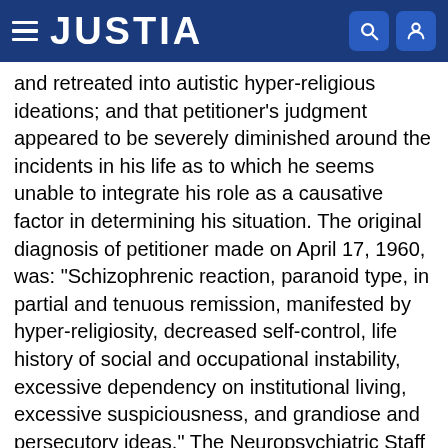JUSTIA
and retreated into autistic hyper-religious ideations; and that petitioner's judgment appeared to be severely diminished around the incidents in his life as to which he seems unable to integrate his role as a causative factor in determining his situation. The original diagnosis of petitioner made on April 17, 1960, was: "Schizophrenic reaction, paranoid type, in partial and tenuous remission, manifested by hyper-religiosity, decreased self-control, life history of social and occupational instability, excessive dependency on institutional living, excessive suspiciousness, and grandiose and persecutory ideas." The Neuropsychiatric Staff of the Medical Center, on April 13, 1960, agreed to that diagnosis. At the Staff examination on November 16, 1960, the Staff agreed "that the prognosis for return of competency is good"; that if petitioner's "present improvement continues, he should be able to return to